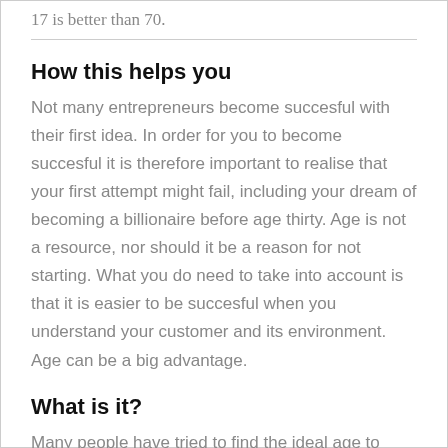17 is better than 70.
How this helps you
Not many entrepreneurs become succesful with their first idea. In order for you to become succesful it is therefore important to realise that your first attempt might fail, including your dream of becoming a billionaire before age thirty. Age is not a resource, nor should it be a reason for not starting. What you do need to take into account is that it is easier to be succesful when you understand your customer and its environment. Age can be a big advantage.
What is it?
Many people have tried to find the ideal age to launch a startup. The average